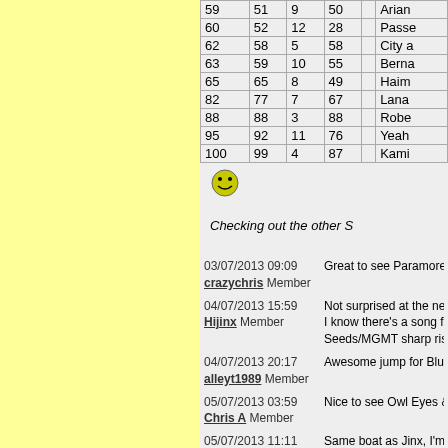| col1 | col2 | col3 | col4 |  | col5 |
| --- | --- | --- | --- | --- | --- |
| 59 | 51 | 9 | 50 |  | Arian |
| 60 | 52 | 12 | 28 |  | Passe |
| 62 | 58 | 5 | 58 |  | City a |
| 63 | 59 | 10 | 55 |  | Berna |
| 65 | 65 | 8 | 49 |  | Haim |
| 82 | 77 | 7 | 67 |  | Lana |
| 88 | 88 | 3 | 88 |  | Robe |
| 95 | 92 | 11 | 76 |  | Yeah |
| 100 | 99 | 4 | 87 |  | Kami |
[Figure (illustration): Smiley face emoji icon]
Checking out the other S
Great to see Paramore ri
03/07/2013 09:09 crazychris Member
Not surprised at the new I know there's a song fro Seeds/MGMT sharp rises
04/07/2013 15:59 Hijinx Member
Awesome jump for Blurre
04/07/2013 20:17 alleyt1989 Member
Nice to see Owl Eyes & R
05/07/2013 03:59 Chris A Member
Same boat as Jinx, I'm n pleased about Surfer Blo tracks by title. However I
05/07/2013 11:11 bluezombie Member
Wow at Robin Thicke doi
06/07/2013 03:34 antonnalan Member
Passenger, Lorde, Globa